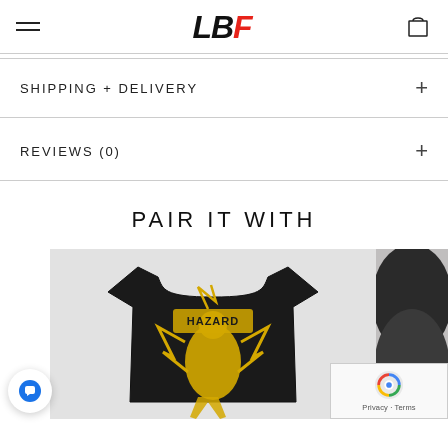LBF logo with hamburger menu and cart icon
SHIPPING + DELIVERY
REVIEWS (0)
PAIR IT WITH
[Figure (photo): Black t-shirt with yellow graphic design showing a character and text reading HAZARD, displayed on light grey background]
[Figure (photo): Partial view of a dark/black product on the right edge of the screen]